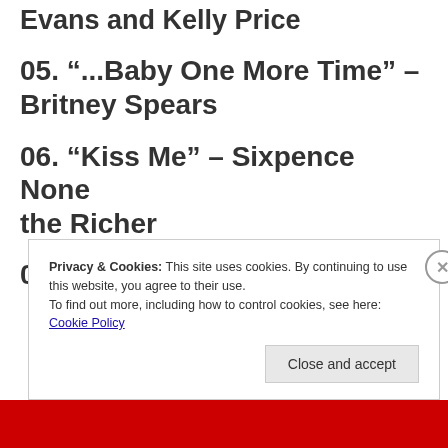Evans and Kelly Price
05. “...Baby One More Time” – Britney Spears
06. “Kiss Me” – Sixpence None the Richer
07. “Genie in a Bottle” –
Privacy & Cookies: This site uses cookies. By continuing to use this website, you agree to their use.
To find out more, including how to control cookies, see here: Cookie Policy